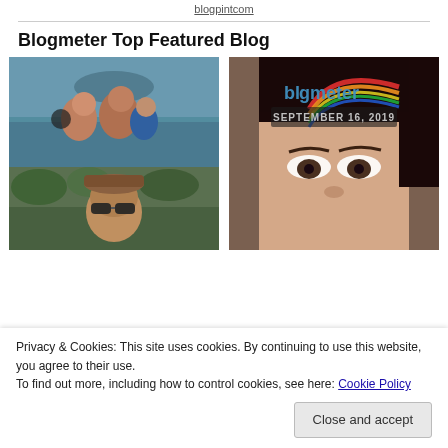blogpintcom
Blogmeter Top Featured Blog
[Figure (photo): Collage of photos: top-left shows a family selfie at water with island in background, bottom-left shows a man with sunglasses outdoors, right side shows a close-up portrait with blogmeter September 16, 2019 overlay]
Privacy & Cookies: This site uses cookies. By continuing to use this website, you agree to their use.
To find out more, including how to control cookies, see here: Cookie Policy
Close and accept